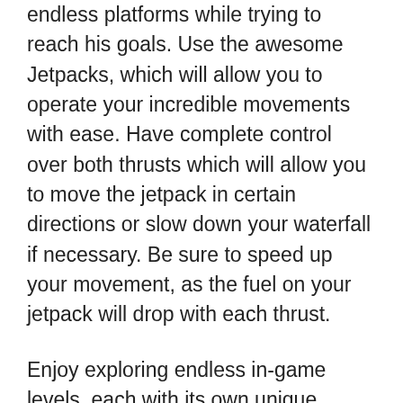endless platforms while trying to reach his goals. Use the awesome Jetpacks, which will allow you to operate your incredible movements with ease. Have complete control over both thrusts which will allow you to move the jetpack in certain directions or slow down your waterfall if necessary. Be sure to speed up your movement, as the fuel on your jetpack will drop with each thrust.
Enjoy exploring endless in-game levels, each with its own unique challenges, addiction-free gameplay and interesting environments that will keep you fully engaged in the game. Explore and enjoy your wonderful mission to Mars. Enjoy playing addictive runs, as you try to move from one platform to another. And for those of you who are interested, you can freely customize in-game